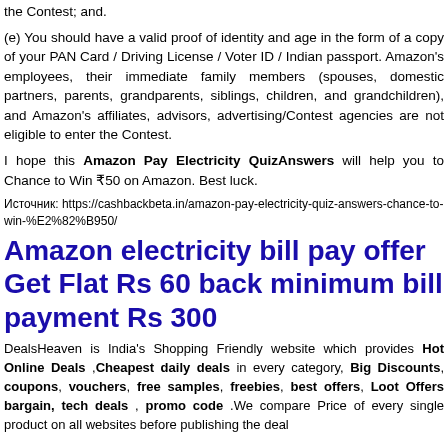the Contest; and.
(e) You should have a valid proof of identity and age in the form of a copy of your PAN Card / Driving License / Voter ID / Indian passport. Amazon's employees, their immediate family members (spouses, domestic partners, parents, grandparents, siblings, children, and grandchildren), and Amazon's affiliates, advisors, advertising/Contest agencies are not eligible to enter the Contest.
I hope this Amazon Pay Electricity QuizAnswers will help you to Chance to Win ₹50 on Amazon. Best luck.
Источник: https://cashbackbeta.in/amazon-pay-electricity-quiz-answers-chance-to-win-%E2%82%B950/
Amazon electricity bill pay offer Get Flat Rs 60 back minimum bill payment Rs 300
DealsHeaven is India's Shopping Friendly website which provides Hot Online Deals ,Cheapest daily deals in every category, Big Discounts, coupons, vouchers, free samples, freebies, best offers, Loot Offers bargain, tech deals , promo code .We compare Price of every single product on all websites before publishing the deal